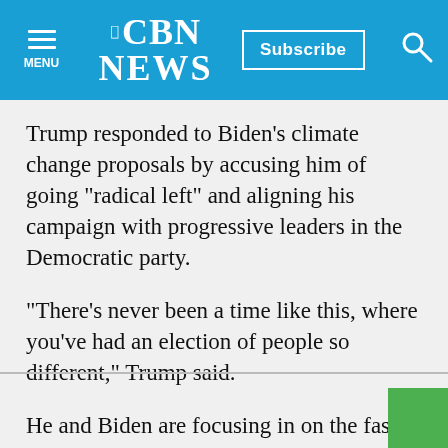CBN NEWS
Trump responded to Biden's climate change proposals by accusing him of going "radical left" and aligning his campaign with progressive leaders in the Democratic party.
"There's never been a time like this, where you've had an election of people so different," Trump said.
He and Biden are focusing in on the fast-changing states of Georgia and Texas this week.